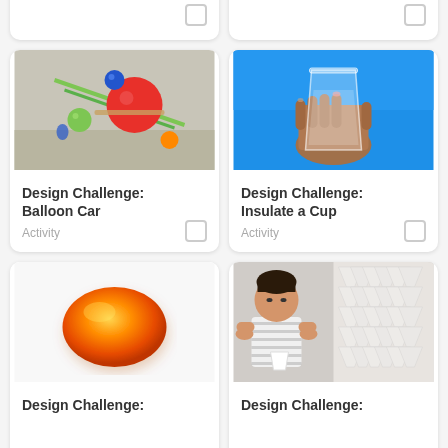[Figure (other): Partial card top-left: Workbook card with teal icon and checkbox, partially visible at top]
[Figure (other): Partial card top-right: Activity card with checkbox, partially visible at top]
[Figure (photo): Photo of a balloon car made with colored balls and straws on sand]
Design Challenge: Balloon Car
Activity
[Figure (photo): Photo of a hand holding a clear plastic cup against blue sky]
Design Challenge: Insulate a Cup
Activity
[Figure (photo): Photo of an orange/red egg-shaped object on white background]
Design Challenge:
[Figure (photo): Photo of a young boy building a tower of white cups]
Design Challenge: